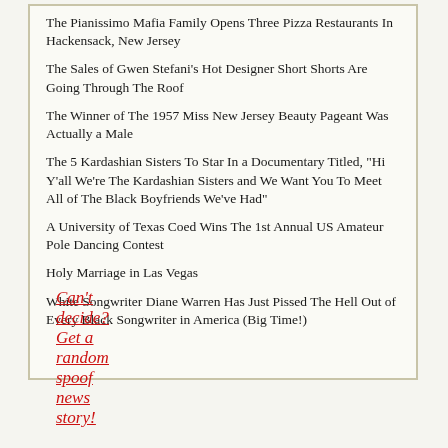The Pianissimo Mafia Family Opens Three Pizza Restaurants In Hackensack, New Jersey
The Sales of Gwen Stefani's Hot Designer Short Shorts Are Going Through The Roof
The Winner of The 1957 Miss New Jersey Beauty Pageant Was Actually a Male
The 5 Kardashian Sisters To Star In a Documentary Titled, "Hi Y'all We're The Kardashian Sisters and We Want You To Meet All of The Black Boyfriends We've Had"
A University of Texas Coed Wins The 1st Annual US Amateur Pole Dancing Contest
Holy Marriage in Las Vegas
White Songwriter Diane Warren Has Just Pissed The Hell Out of Every Black Songwriter in America (Big Time!)
Can't decide? Get a random spoof news story!